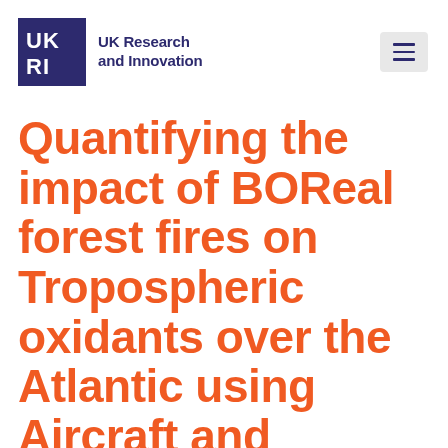[Figure (logo): UK Research and Innovation (UKRI) logo with navy blue square containing white UK and RI letters, accompanied by the text 'UK Research and Innovation' in navy, and a hamburger menu icon button]
Quantifying the impact of BOReal forest fires on Tropospheric oxidants over the Atlantic using Aircraft and Satellites (BORTAS)